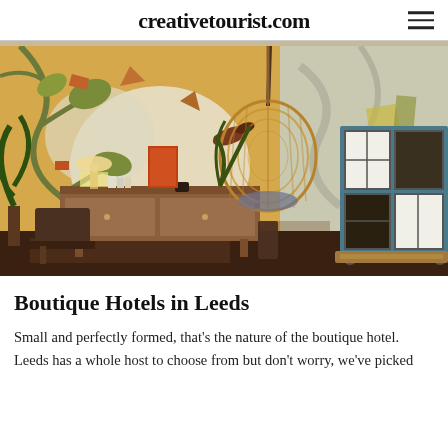creativetourist.com
[Figure (photo): Interior of a boutique hotel lobby featuring eclectic decor: colorful floral murals on walls in green, orange, and white; a hanging rattan egg chair in the center; a mid-century modern wooden sideboard; tropical plants; and a rustic blue-and-white cabinet on wheels to the right.]
Boutique Hotels in Leeds
Small and perfectly formed, that's the nature of the boutique hotel. Leeds has a whole host to choose from but don't worry, we've picked